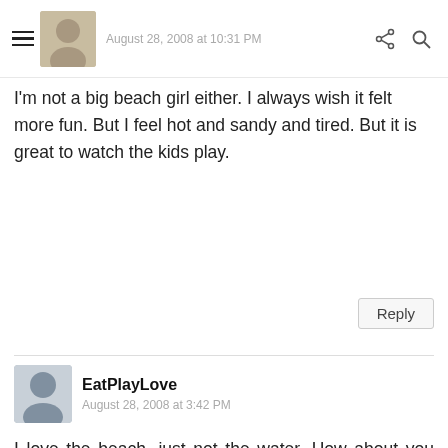August 28, 2008 at 10:31 PM
I'm not a big beach girl either. I always wish it felt more fun. But I feel hot and sandy and tired. But it is great to watch the kids play.
Reply
EatPlayLove
August 28, 2008 at 3:42 PM
I love the beach, just not the water. How about you come to colorado and I take the beach cottage?!
Reply
BACK TO TOP
Enter Comment